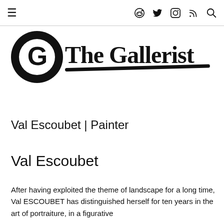≡  reddit  twitter  instagram  rss  search
[Figure (logo): The Gallerist logo: a bold circle with letter G inside, next to cursive script text 'The Gallerist' with a brushstroke underline]
Val Escoubet | Painter
Val Escoubet
After having exploited the theme of landscape for a long time, Val ESCOUBET has distinguished herself for ten years in the art of portraiture, in a figurative